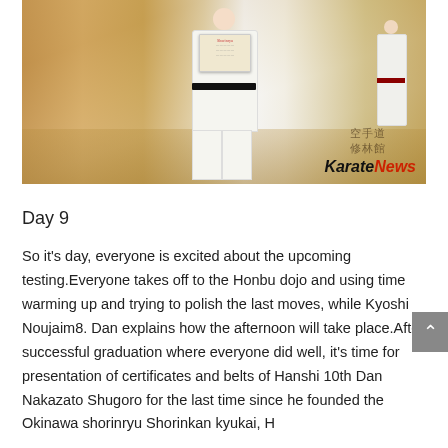[Figure (photo): A person in a white karate gi and black belt holding up a certificate/diploma at a dojo. Other practitioners in white gi visible in background. Wooden floor and walls visible. KarateNews watermark in bottom right with Japanese kanji characters.]
Day 9
So it's day, everyone is excited about the upcoming testing.Everyone takes off to the Honbu dojo and using time warming up and trying to polish the last moves, while Kyoshi Noujaim8. Dan explains how the afternoon will take place.After successful graduation where everyone did well, it's time for presentation of certificates and belts of Hanshi 10th Dan Nakazato Shugoro for the last time since he founded the Okinawa shorinryu Shorinkan kyukai, Honchie joining belts and with a smile of...